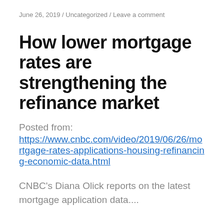June 26, 2019 / Uncategorized / Leave a comment
How lower mortgage rates are strengthening the refinance market
Posted from:
https://www.cnbc.com/video/2019/06/26/mortgage-rates-applications-housing-refinancing-economic-data.html
CNBC's Diana Olick reports on the latest mortgage application data....